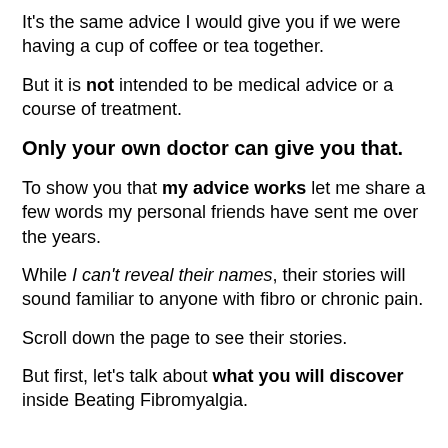It's the same advice I would give you if we were having a cup of coffee or tea together.
But it is not intended to be medical advice or a course of treatment.
Only your own doctor can give you that.
To show you that my advice works let me share a few words my personal friends have sent me over the years.
While I can't reveal their names, their stories will sound familiar to anyone with fibro or chronic pain.
Scroll down the page to see their stories.
But first, let's talk about what you will discover inside Beating Fibromyalgia.